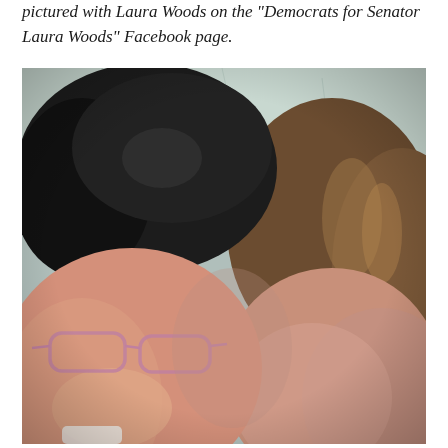pictured with Laura Woods on the "Democrats for Senator Laura Woods" Facebook page.
[Figure (photo): A selfie photo of two people close together. On the left is a person with short dark hair and pink-rimmed glasses, smiling. On the right is a person with medium-length brown highlighted hair. The background shows a wall or ceiling.]